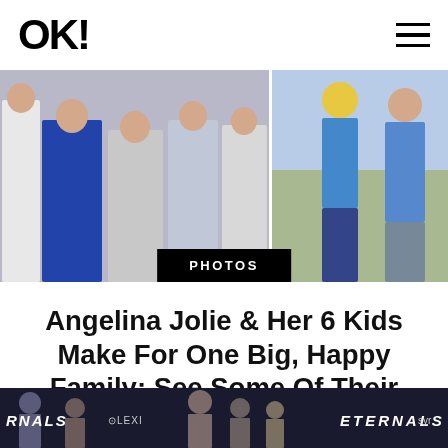OK! [logo] [hamburger menu]
[Figure (photo): Two side-by-side celebrity photos: left shows Angelina Jolie with children in formal attire at an event; right shows children in casual outdoor setting]
PHOTOS
Angelina Jolie & Her 6 Kids Make For One Big, Happy Family: See Some Of Their Cutest Photos Together!
[Figure (photo): Bottom photo showing people at what appears to be the Eternals Marvel movie premiere, with Lexus and Syfy logos visible]